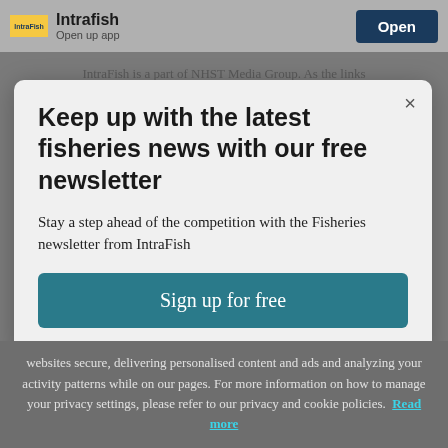Intrafish | Open
Keep up with the latest fisheries news with our free newsletter
Stay a step ahead of the competition with the Fisheries newsletter from IntraFish
Sign up for free
websites secure, delivering personalised content and ads and analyzing your activity patterns while on our pages. For more information on how to manage your privacy settings, please refer to our privacy and cookie policies. Read more